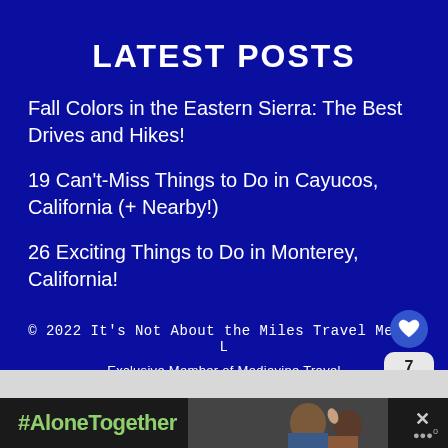LATEST POSTS
Fall Colors in the Eastern Sierra: The Best Drives and Hikes!
19 Can't-Miss Things to Do in Cayucos, California (+ Nearby!)
26 Exciting Things to Do in Monterey, California!
© 2022 It's Not About the Miles Travel Media L...
Exclusive Member of Mediavine Travel
[Figure (screenshot): Advertisement banner with #AloneTogether text and people waving on video call, with close button and logo]